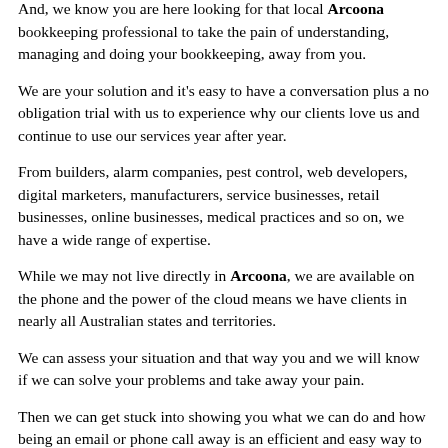your business needs.
And, we know you are here looking for that local Arcoona bookkeeping professional to take the pain of understanding, managing and doing your bookkeeping, away from you.
We are your solution and it's easy to have a conversation plus a no obligation trial with us to experience why our clients love us and continue to use our services year after year.
From builders, alarm companies, pest control, web developers, digital marketers, manufacturers, service businesses, retail businesses, online businesses, medical practices and so on, we have a wide range of expertise.
While we may not live directly in Arcoona, we are available on the phone and the power of the cloud means we have clients in nearly all Australian states and territories.
We can assess your situation and that way you and we will know if we can solve your problems and take away your pain.
Then we can get stuck into showing you what we can do and how being an email or phone call away is an efficient and easy way to run your accounts with XERO software.